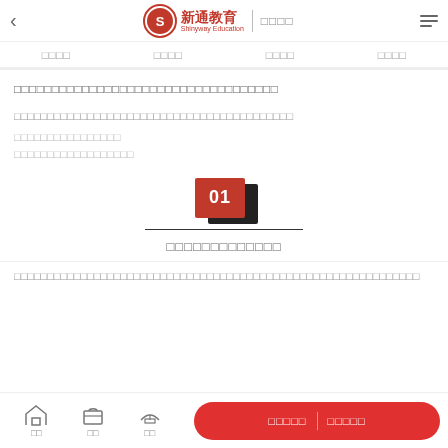新通教育 | □□□□
□□□□  □□□□  □□□□  □□□□
□□□□□□□□□□□□□□□□□□□□□□□□□□□□□□□□□□□
□□□□□□□□□□□□□□□□□□□□□□□□□□□□□□□□□□□□□□□□□□□□□□□□□□□□□□□□□□□□□□□□□□□□□□□□□□□□
[Figure (infographic): Red numbered badge '01' with shadow effect and horizontal rule]
□□□□□□□□□□□□□
□□□□□□□□□□□□□□□□□□□□□□□□□□□□□□□□□□□□□□□□□□□□□□□□□□□□□□□□□□□□□□□□
□□  □□  □□  □□□□□  □□□□□